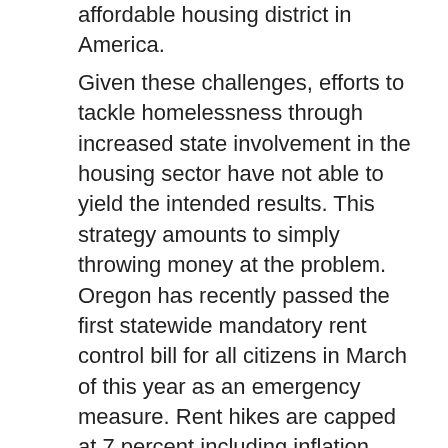affordable housing district in America.
Given these challenges, efforts to tackle homelessness through increased state involvement in the housing sector have not able to yield the intended results. This strategy amounts to simply throwing money at the problem. Oregon has recently passed the first statewide mandatory rent control bill for all citizens in March of this year as an emergency measure. Rent hikes are capped at 7 percent including inflation during any 12 month period. California is attempting to enact a legal “right to shelter” mandate modeled after that of New York in effect since 1981. Last year, New York spent $3.2 billion on services to house its homeless population and $1.9 billion on shelters. It has created a safe haven. The California “right to shelter” plan does not offer any specifics, yet